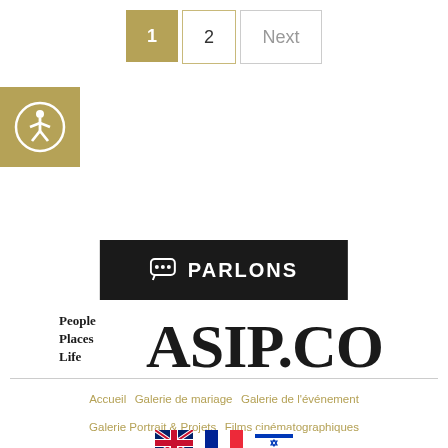1  2  Next
[Figure (logo): Accessibility icon: gold square with wheelchair person symbol in white circle]
[Figure (logo): Black button with speech bubble icon and text PARLONS]
[Figure (logo): ASIP.CO logo with People Places Life tagline in serif font]
Accueil   Galerie de mariage   Galerie de l'événement   Galerie Portrait & Projets   Films cinématographiques   Inspiration + Mode de vie   Boutique   A propos d'Arnold
[Figure (infographic): Three country flags: UK flag, French flag, Israeli flag]